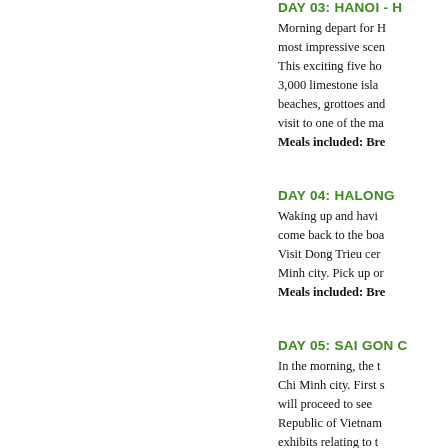DAY 03: HANOI - H...
Morning depart for H... most impressive scen... This exciting five ho... 3,000 limestone isla... beaches, grottoes and... visit to one of the ma... Meals included: Bre...
DAY 04: HALONG...
Waking up and havi... come back to the boa... Visit Dong Trieu cer... Minh city. Pick up or... Meals included: Bre...
DAY 05: SAI GON C...
In the morning, the t... Chi Minh city. First s... will proceed to see ... Republic of Vietnam... exhibits relating to t... district. 50 km to th...